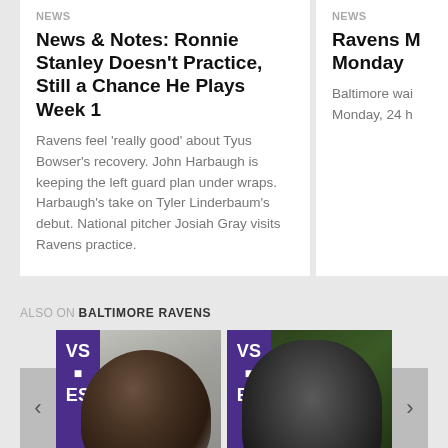NEWS
News & Notes: Ronnie Stanley Doesn't Practice, Still a Chance He Plays Week 1
Ravens feel 'really good' about Tyus Bowser's recovery. John Harbaugh is keeping the left guard plan under wraps. Harbaugh's take on Tyler Linderbaum's debut. National pitcher Josiah Gray visits Ravens practice.
NEWS
Ravens M Monday
Baltimore wai Monday, 24 h
ALSO ON BALTIMORE RAVENS
[Figure (photo): Carousel photo 1 - player close-up, cloudy background, purple Ravens banner on left showing 'VS' and 'ES', caption: urs ago • 152 comments]
[Figure (photo): Carousel photo 2 - player in helmet, green background, purple Ravens banner on left showing 'VS' and 'ES', caption: 6 days ago • 38 comments]
[Figure (infographic): Social sharing icons row: Facebook, Twitter, Email, Link]